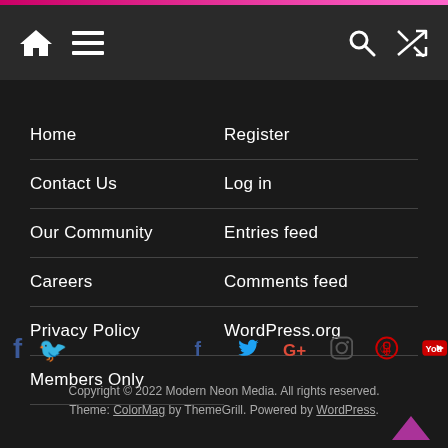Navigation bar with home, menu, search, and shuffle icons
Home
Contact Us
Our Community
Careers
Privacy Policy
Members Only
Register
Log in
Entries feed
Comments feed
WordPress.org
[Figure (illustration): Social media icons: Facebook, Twitter, Google+, Instagram, Pinterest, YouTube]
Copyright © 2022 Modern Neon Media. All rights reserved. Theme: ColorMag by ThemeGrill. Powered by WordPress.